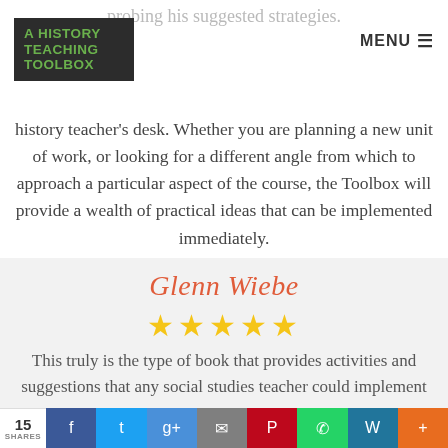[Figure (logo): A History Teaching Toolbox logo — dark background with green bold uppercase text]
MENU
probing his suggested strategies.
history teacher's desk. Whether you are planning a new unit of work, or looking for a different angle from which to approach a particular aspect of the course, the Toolbox will provide a wealth of practical ideas that can be implemented immediately.
Glenn Wiebe
[Figure (other): Five gold star rating icons]
This truly is the type of book that provides activities and suggestions that any social studies teacher could implement tomorrow.
15 SHARES | Facebook | Twitter | Google+ | Email | Pinterest | WhatsApp | WordPress | Plus